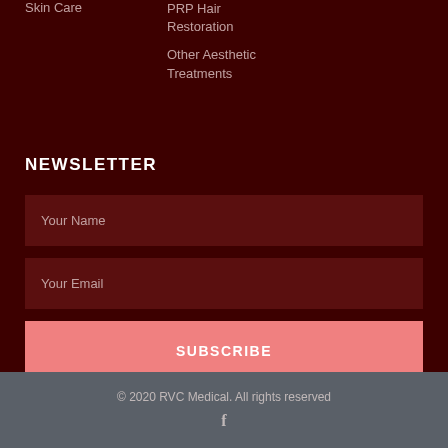Skin Care
PRP Hair Restoration
Other Aesthetic Treatments
NEWSLETTER
Your Name
Your Email
SUBSCRIBE
© 2020 RVC Medical. All rights reserved